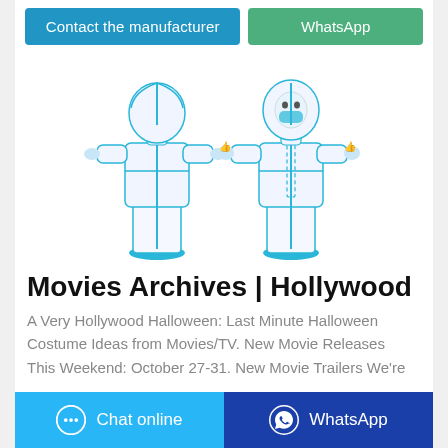[Figure (screenshot): Two buttons at top: 'Contact the manufacturer' (blue) and 'WhatsApp' (green)]
[Figure (photo): Two people wearing white full-body protective hazmat/coverall suits with blue trim and blue shoe covers. One shown from the back, one from the front wearing a face mask and giving thumbs up.]
Movies Archives | Hollywood
A Very Hollywood Halloween: Last Minute Halloween Costume Ideas from Movies/TV. New Movie Releases This Weekend: October 27-31. New Movie Trailers We're...
[Figure (screenshot): Bottom bar with two buttons: 'Chat online' (light blue) and 'WhatsApp' (dark blue)]